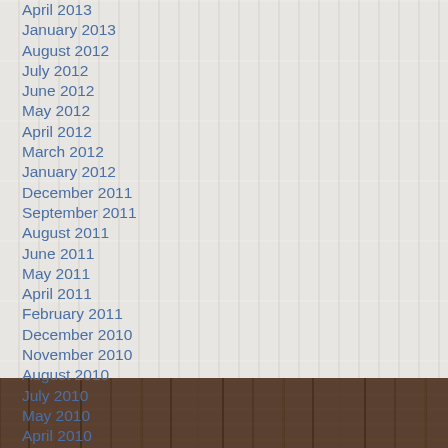April 2013
January 2013
August 2012
July 2012
June 2012
May 2012
April 2012
March 2012
January 2012
December 2011
September 2011
August 2011
June 2011
May 2011
April 2011
February 2011
December 2010
November 2010
August 2010
July 2010
May 2010
April 2010
March 2010
[Figure (photo): Dark brown wooden planks texture at the bottom of the page]